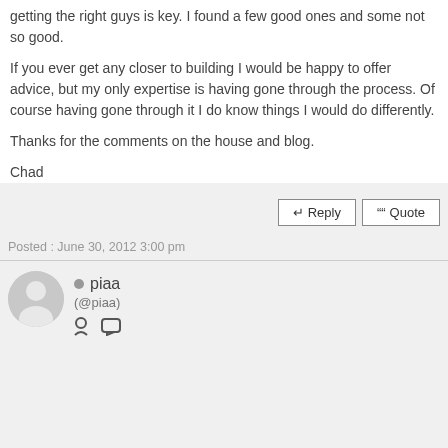getting the right guys is key. I found a few good ones and some not so good.

If you ever get any closer to building I would be happy to offer advice, but my only expertise is having gone through the process. Of course having gone through it I do know things I would do differently.

Thanks for the comments on the house and blog.

Chad
Posted : June 30, 2012 3:00 pm
piaa (@piaa)